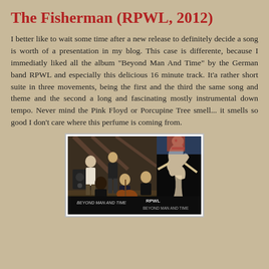The Fisherman (RPWL, 2012)
I better like to wait some time after a new release to definitely decide a song is worth of a presentation in my blog. This case is differente, because I immediatly liked all the album "Beyond Man And Time" by the German band RPWL and especially this delicious 16 minute track. It'a rather short suite in three movements, being the first and the third the same song and theme and the second a long and fascinating mostly instrumental down tempo. Never mind the Pink Floyd or Porcupine Tree smell... it smells so good I don't care where this perfume is coming from.
[Figure (photo): Band photo of RPWL in a studio setting combined with album cover art for 'Beyond Man And Time'. The left side shows band members gathered in what appears to be an attic or loft studio space. The right side shows abstract artwork of a figure. Text at bottom reads 'RPWL BEYOND MAN AND TIME'.]